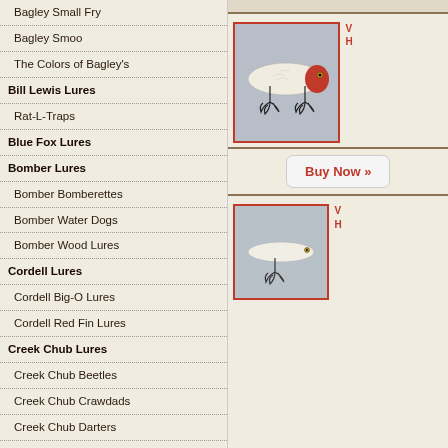Bagley Small Fry
Bagley Smoo
The Colors of Bagley's
Bill Lewis Lures
Rat-L-Traps
Blue Fox Lures
Bomber Lures
Bomber Bomberettes
Bomber Water Dogs
Bomber Wood Lures
Cordell Lures
Cordell Big-O Lures
Cordell Red Fin Lures
Creek Chub Lures
Creek Chub Beetles
Creek Chub Crawdads
Creek Chub Darters
Creek Chub Dingbats
Creek Chub Injured Minnow
Creek Chub Pikies
[Figure (photo): Vintage fishing lure - white/cream colored lure with red head, two treble hooks, shown against gray background, framed with red border]
Buy Now »
[Figure (photo): Vintage fishing lure - white/cream colored slim lure with single treble hook, shown against gray background, framed with red border, partially visible]